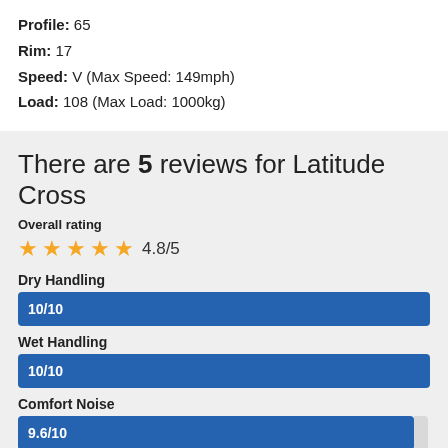Profile: 65
Rim: 17
Speed: V (Max Speed: 149mph)
Load: 108 (Max Load: 1000kg)
There are 5 reviews for Latitude Cross
Overall rating
4.8/5
Dry Handling
10/10
Wet Handling
10/10
Comfort Noise
9.6/10